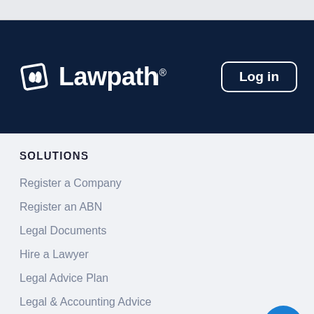[Figure (logo): Lawpath logo with icon on dark navy background with Log in button]
SOLUTIONS
Register a Company
Register an ABN
Legal Documents
Hire a Lawyer
Legal Advice Plan
Legal & Accounting Advice
Lawyer Directory